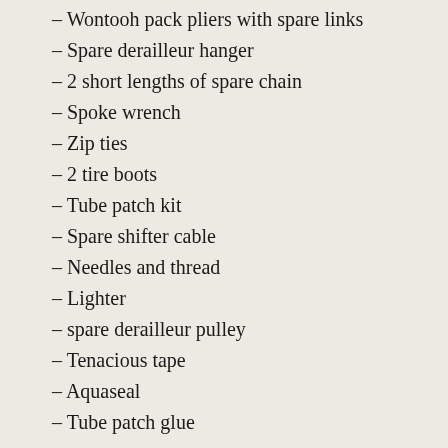– Wontooh pack pliers with spare links
– Spare derailleur hanger
– 2 short lengths of spare chain
– Spoke wrench
– Zip ties
– 2 tire boots
– Tube patch kit
– Spare shifter cable
– Needles and thread
– Lighter
– spare derailleur pulley
– Tenacious tape
– Aquaseal
– Tube patch glue